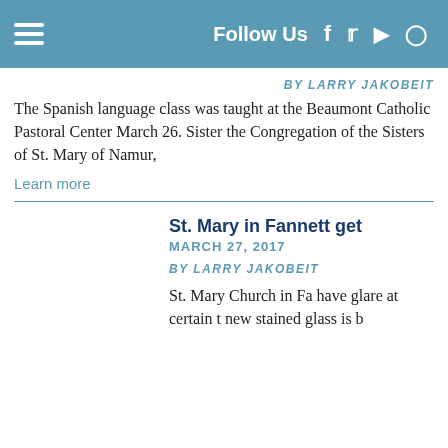Follow Us
BY LARRY JAKOBEIT
The Spanish language class was taught at the Beaumont Catholic Pastoral Center March 26. Sister the Congregation of the Sisters of St. Mary of Namur,
Learn more
St. Mary in Fannett get
MARCH 27, 2017
BY LARRY JAKOBEIT
St. Mary Church in Fa have glare at certain t new stained glass is b